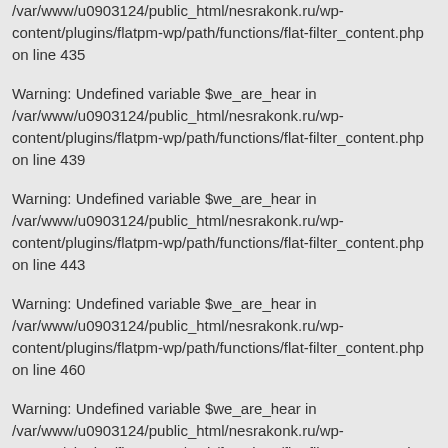/var/www/u0903124/public_html/nesrakonk.ru/wp-content/plugins/flatpm-wp/path/functions/flat-filter_content.php on line 435
Warning: Undefined variable $we_are_hear in /var/www/u0903124/public_html/nesrakonk.ru/wp-content/plugins/flatpm-wp/path/functions/flat-filter_content.php on line 439
Warning: Undefined variable $we_are_hear in /var/www/u0903124/public_html/nesrakonk.ru/wp-content/plugins/flatpm-wp/path/functions/flat-filter_content.php on line 443
Warning: Undefined variable $we_are_hear in /var/www/u0903124/public_html/nesrakonk.ru/wp-content/plugins/flatpm-wp/path/functions/flat-filter_content.php on line 460
Warning: Undefined variable $we_are_hear in /var/www/u0903124/public_html/nesrakonk.ru/wp-content/plugins/flatpm-wp/path/functions/flat-filter_content.php on